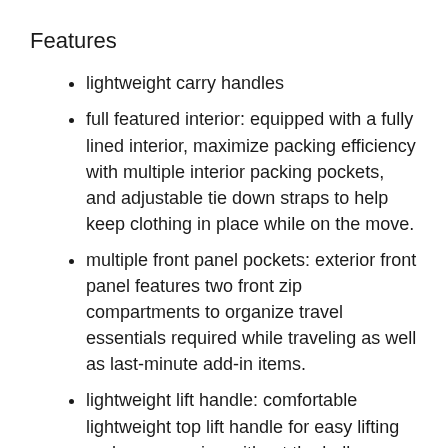Features
lightweight carry handles
full featured interior: equipped with a fully lined interior, maximize packing efficiency with multiple interior packing pockets, and adjustable tie down straps to help keep clothing in place while on the move.
multiple front panel pockets: exterior front panel features two front zip compartments to organize travel essentials required while traveling as well as last-minute add-in items.
lightweight lift handle: comfortable lightweight top lift handle for easy lifting and maneuvering without the bulk.